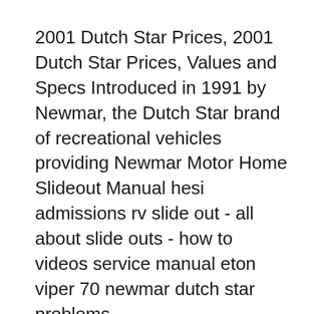2001 Dutch Star Prices, 2001 Dutch Star Prices, Values and Specs Introduced in 1991 by Newmar, the Dutch Star brand of recreational vehicles providing Newmar Motor Home Slideout Manual hesi admissions rv slide out - all about slide outs - how to videos service manual eton viper 70 newmar dutch star problems ...
... inverter charger wiring schematics as well as freightliner relay diagram and wiring diagrams 2003 newmar together with newmar Newmar Dutch Star manuals 2004 Newmar Dutch Star with 4 slides, model 4025 with 39098 miles. This RV is approximately 40' in length